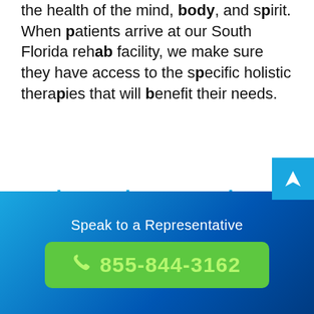the health of the mind, body, and spirit. When patients arrive at our South Florida rehab facility, we make sure they have access to the specific holistic therapies that will benefit their needs.
Caring and compassionate environment
Addiction treatment professionals who facilitate a holistic approach to healthcare generally provide a safe, secure, and compassionate environment that facilitates
Speak to a Representative
855-844-3162